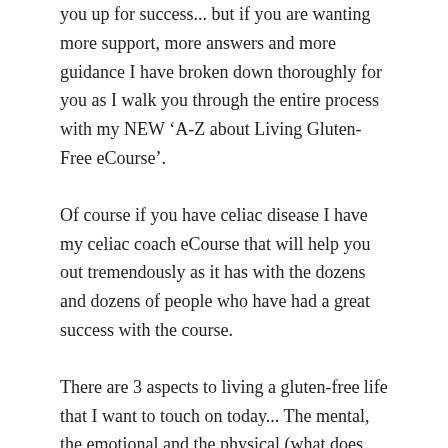you up for success... but if you are wanting more support, more answers and more guidance I have broken down thoroughly for you as I walk you through the entire process with my NEW ‘A-Z about Living Gluten-Free eCourse’.
Of course if you have celiac disease I have my celiac coach eCourse that will help you out tremendously as it has with the dozens and dozens of people who have had a great success with the course.
There are 3 aspects to living a gluten-free life that I want to touch on today... The mental, the emotional and the physical (what does this